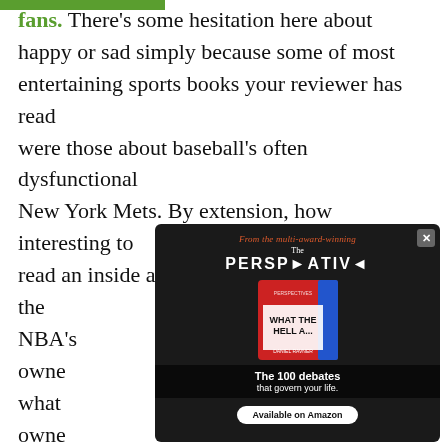fans. There's some hesitation here about happy or sad simply because some of most entertaining sports books your reviewer has read were those about baseball's often dysfunctional New York Mets. By extension, how interesting to read an inside account of what's happened to the NBA's most troubled franchise and its owners... what makes owning a sports team interesting... social... their investments... bad for the... s free-r... den (from... me
[Figure (other): Popup advertisement for 'The Perspective' book 'What The Hell...' by Daniel Ravner. Shows book cover and text: 'From the multi-award-winning', 'The PERSPECTIVE', 'The 100 debates that govern your life.', 'Available on Amazon']